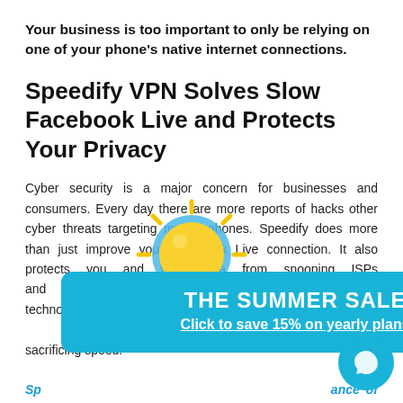Your business is too important to only be relying on one of your phone's native internet connections.
Speedify VPN Solves Slow Facebook Live and Protects Your Privacy
Cyber security is a major concern for businesses and consumers. Every day there are more reports of hacks other cyber threats targeting mobile phones. Speedify does more than just improve your Facebook Live connection. It also protects you and your data from snooping ISPs and online cyber threats. Using VPN for mobility technology built with the latest encryption standards, you are safe from unprotected networks and more without sacrificing speed.
Speedify gives you the performance of connections to multiple VPNs. Imagine Facebook... getting better speed and more security than when using your desktop.
[Figure (illustration): Yellow sun icon with rays, circular shape with radial lines around it]
[Figure (infographic): Blue banner ad: THE SUMMER SALE / Click to save 15% on yearly plans]
[Figure (illustration): Cyan circular chat bubble icon in lower right corner]